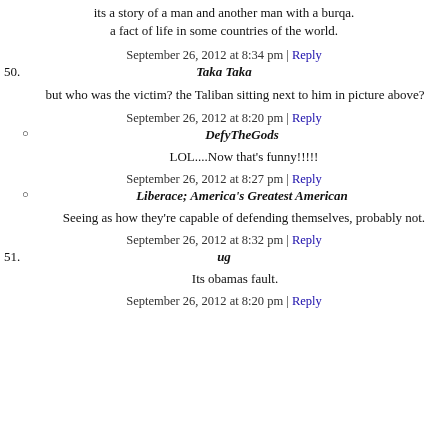its a story of a man and another man with a burqa. a fact of life in some countries of the world.
September 26, 2012 at 8:34 pm | Reply
50. Taka Taka
but who was the victim? the Taliban sitting next to him in picture above?
September 26, 2012 at 8:20 pm | Reply
DefyTheGods
LOL....Now that's funny!!!!!
September 26, 2012 at 8:27 pm | Reply
Liberace; America's Greatest American
Seeing as how they're capable of defending themselves, probably not.
September 26, 2012 at 8:32 pm | Reply
51. ug
Its obamas fault.
September 26, 2012 at 8:20 pm | Reply